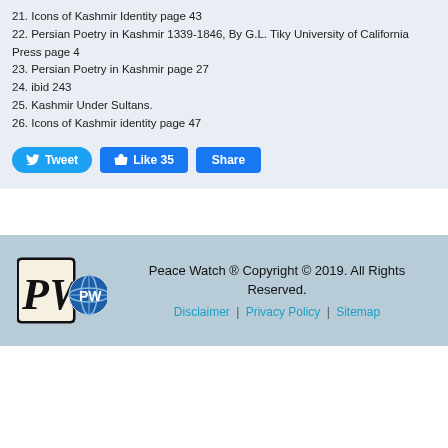21. Icons of Kashmir Identity page 43
22. Persian Poetry in Kashmir 1339-1846, By G.L. Tiky University of California Press page 4
23. Persian Poetry in Kashmir page 27
24. ibid 243
25. Kashmir Under Sultans.
26. Icons of Kashmir identity page 47
[Figure (screenshot): Social sharing buttons: Tweet (Twitter), Like 35 (Facebook), Share (Facebook)]
Peace Watch ® Copyright © 2019. All Rights Reserved. Disclaimer | Privacy Policy | Sitemap